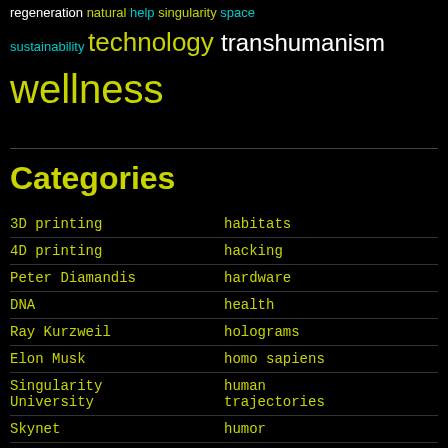[Figure (other): Tag cloud (partial, top of page) showing words: regeneration, natural, help, singularity, space, sustainability, technology, transhumanism, wellness in varying sizes and colors (yellow-green, cyan, white)]
Categories
| (left col) | (right col) |
| --- | --- |
| 3D printing | habitats |
| 4D printing | hacking |
| Peter Diamandis | hardware |
| DNA | health |
| Ray Kurzweil | holograms |
| Elon Musk | homo sapiens |
| Singularity University | human trajectories |
| Skynet | humor |
| Mark Zuckerberg | information science |
| aging | innovation |
| alien life | internet |
| anti-gravity | journalism |